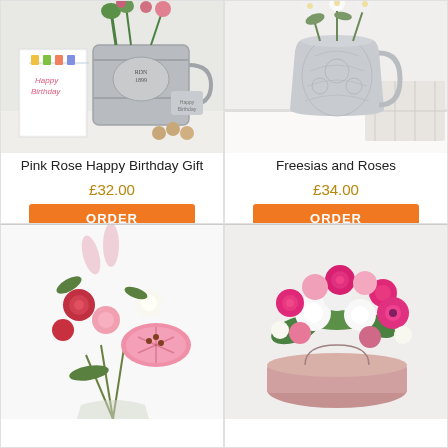[Figure (photo): Pink rose happy birthday gift arrangement in a grey tin with birthday card and chocolates]
Pink Rose Happy Birthday Gift
£32.00
[Figure (photo): Freesias and roses arrangement in a grey embossed metal pitcher jug]
Freesias and Roses
£34.00
[Figure (photo): Mixed flower bouquet with pink lilies, red roses and carnations]
[Figure (photo): Pink roses, gerberas, carnations and white chrysanthemums bouquet in a pink hat box]